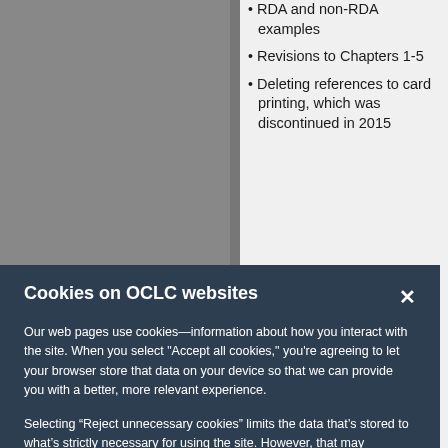RDA and non-RDA examples
Revisions to Chapters 1-5
Deleting references to card printing, which was discontinued in 2015
Cookies on OCLC websites
Our web pages use cookies—information about how you interact with the site. When you select "Accept all cookies," you're agreeing to let your browser store that data on your device so that we can provide you with a better, more relevant experience.
Selecting “Reject unnecessary cookies” limits the data that’s stored to what’s strictly necessary for using the site. However, that may negatively impact your experience. You can also customize your cookie settings.